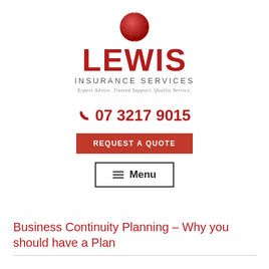[Figure (logo): Lewis Insurance Services logo with globe icon, large red LEWIS text, INSURANCE SERVICES subtitle, and tagline 'Expert Advice. Trusted Support. Quality Service.']
07 3217 9015
REQUEST A QUOTE
Menu
Business Continuity Planning – Why you should have a Plan